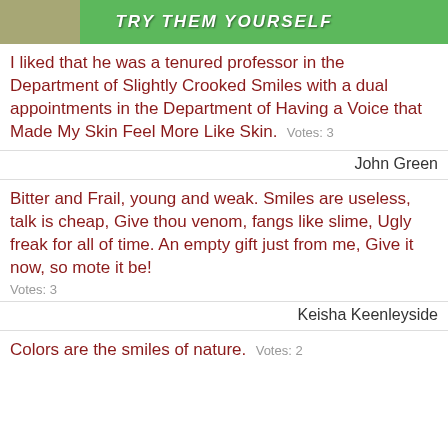[Figure (illustration): Green banner with white bold italic text 'TRY THEM YOURSELF' and a partial photo of a person on the left side]
I liked that he was a tenured professor in the Department of Slightly Crooked Smiles with a dual appointments in the Department of Having a Voice that Made My Skin Feel More Like Skin.  Votes: 3
John Green
Bitter and Frail, young and weak. Smiles are useless, talk is cheap, Give thou venom, fangs like slime, Ugly freak for all of time. An empty gift just from me, Give it now, so mote it be!  Votes: 3
Keisha Keenleyside
Colors are the smiles of nature.  Votes: 2